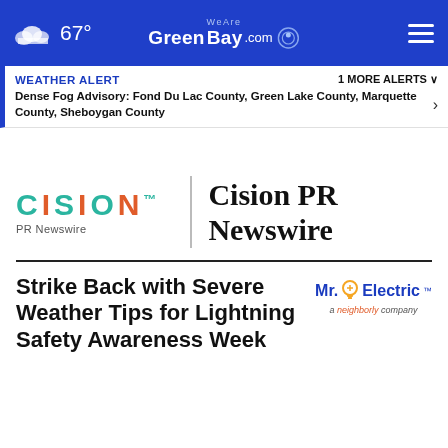67° | WeAreGreenBay.com
WEATHER ALERT | 1 MORE ALERTS ▼ | Dense Fog Advisory: Fond Du Lac County, Green Lake County, Marquette County, Sheboygan County
[Figure (logo): Cision PR Newswire logo with teal and orange lettering and PR Newswire subtitle]
Strike Back with Severe Weather Tips for Lightning Safety Awareness Week
[Figure (logo): Mr. Electric logo - a neighbourly company]